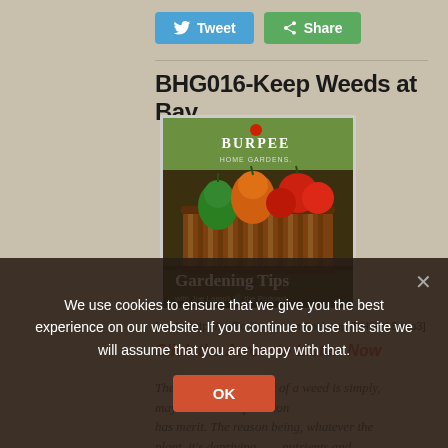[Figure (other): Twitter Tweet button (blue) and Share button (orange/green) social sharing buttons]
BHG016-Keep Weeds at Bay
[Figure (photo): Burpee Home Gardens Gardening Tips with Joe Lamp'l the Podcast cover art showing a basket of vegetables including peppers and tomatoes]
[audio:http://traffic.libsyn.com/joelampl/BHG016.mp3]
Click the Arrow to Listen Now
The broadest definition of a weed is simply, may be over... duplication has merit. The reason being, whatever the plant, it's depriving nutrients and
We use cookies to ensure that we give you the best experience on our website. If you continue to use this site we will assume that you are happy with that.